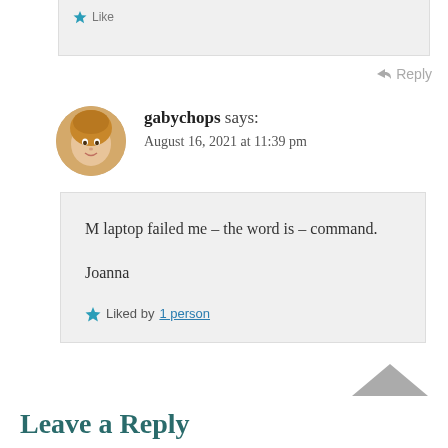[Figure (photo): Partial view of a previous comment box with a 'Like' button at the top]
↳ Reply
[Figure (photo): Avatar photo of gabychops - person with short blond hair]
gabychops says:
August 16, 2021 at 11:39 pm
M laptop failed me – the word is – command.

Joanna
Liked by 1 person
↳ Reply
Leave a Reply